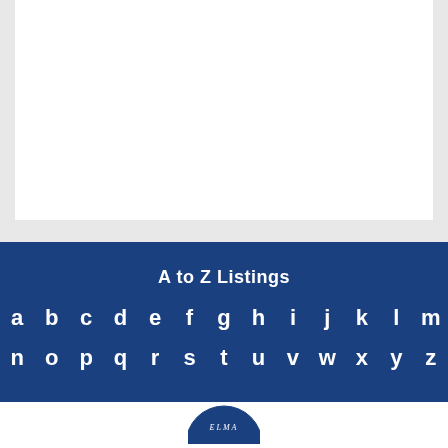[Figure (other): White content area / card at top of page on gray background]
A to Z Listings
a b c d e f g h i j k l m
n o p q r s t u v w x y z
[Figure (logo): Circular logo partially visible at bottom center of page]